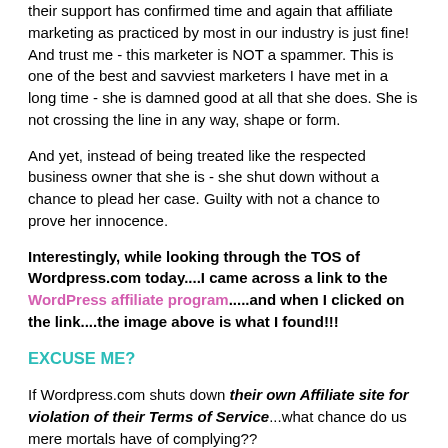their support has confirmed time and again that affiliate marketing as practiced by most in our industry is just fine! And trust me - this marketer is NOT a spammer. This is one of the best and savviest marketers I have met in a long time - she is damned good at all that she does. She is not crossing the line in any way, shape or form.
And yet, instead of being treated like the respected business owner that she is - she shut down without a chance to plead her case. Guilty with not a chance to prove her innocence.
Interestingly, while looking through the TOS of Wordpress.com today....I came across a link to the WordPress affiliate program.....and when I clicked on the link....the image above is what I found!!!
EXCUSE ME?
If Wordpress.com shuts down their own Affiliate site for violation of their Terms of Service...what chance do us mere mortals have of complying??
Now that we have had our chuckle for the day...here is an